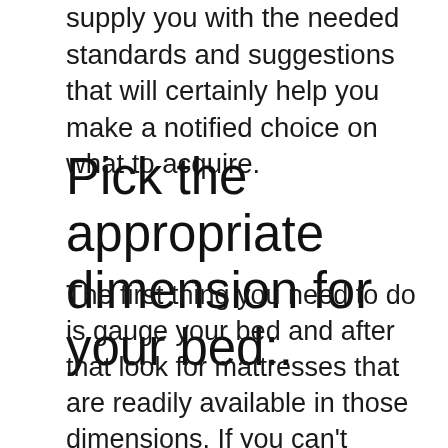supply you with the needed standards and suggestions that will certainly help you make a notified choice on what to acquire.
Pick the appropriate dimension for your bed:.
The first thing you need to do is gauge your bed and after that look for mattresses that are readily available in those dimensions. If you can't discover a mattress in the size of your bed, after that try to find one that is slightly bigger or smaller than it. You ought to additionally consider whether you want a firm or soft mattress.
Get a good night's rest